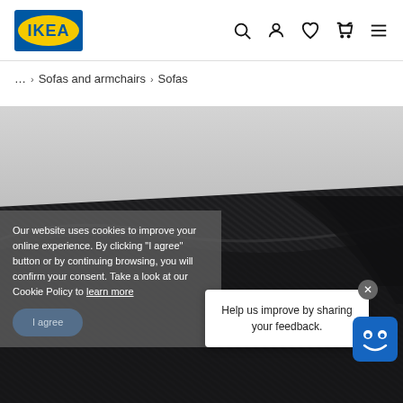[Figure (logo): IKEA logo — yellow oval with blue text IKEA on blue rectangle background]
... > Sofas and armchairs > Sofas
[Figure (photo): Close-up photo of dark navy/black textured sofa fabric, folded corner visible, light grey background in upper portion]
Our website uses cookies to improve your online experience. By clicking "I agree" button or by continuing browsing, you will confirm your consent. Take a look at our Cookie Policy to learn more
I agree
Help us improve by sharing your feedback.